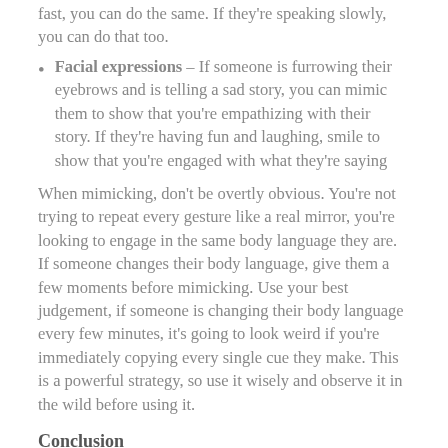fast, you can do the same. If they're speaking slowly, you can do that too.
Facial expressions – If someone is furrowing their eyebrows and is telling a sad story, you can mimic them to show that you're empathizing with their story. If they're having fun and laughing, smile to show that you're engaged with what they're saying
When mimicking, don't be overtly obvious. You're not trying to repeat every gesture like a real mirror, you're looking to engage in the same body language they are. If someone changes their body language, give them a few moments before mimicking. Use your best judgement, if someone is changing their body language every few minutes, it's going to look weird if you're immediately copying every single cue they make. This is a powerful strategy, so use it wisely and observe it in the wild before using it.
Conclusion
Going to a party can be intimidating but by taking initiative, being approachable, selfless and charismatic you'll be on your way to go to parties and socialize with ease. Treat every conversation as an opportunity to deeply connect with another